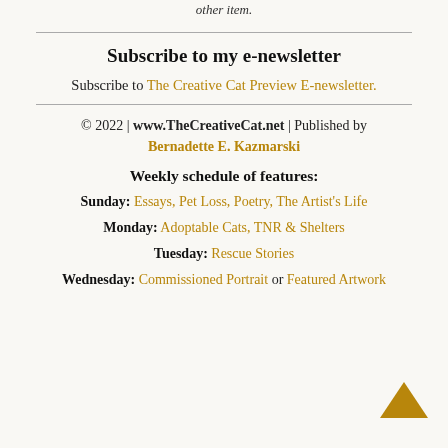other item.
Subscribe to my e-newsletter
Subscribe to The Creative Cat Preview E-newsletter.
© 2022 | www.TheCreativeCat.net | Published by Bernadette E. Kazmarski
Weekly schedule of features:
Sunday: Essays, Pet Loss, Poetry, The Artist's Life
Monday: Adoptable Cats, TNR & Shelters
Tuesday: Rescue Stories
Wednesday: Commissioned Portrait or Featured Artwork